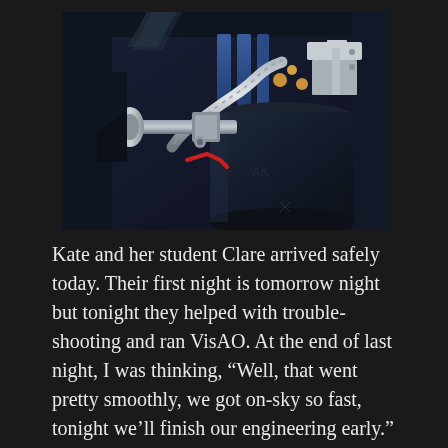[Figure (photo): Close-up photograph of telescope or scientific instrument equipment showing metal tubes, flexible hoses, brass fittings, and a large black cylindrical component, all mounted in a dark enclosure.]
Kate and her student Clare arrived safely today. Their first night is tomorrow night but tonight they helped with trouble-shooting and ran VisAO. At the end of last night, I was thinking, “Well, that went pretty smoothly, we got on-sky so fast, tonight we’ll finish our engineering early.” Hah. Today Juan woke Laird up in the